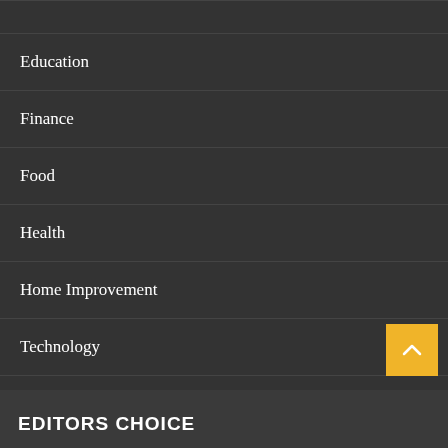Education
Finance
Food
Health
Home Improvement
Technology
Travel
Wedding
EDITORS CHOICE